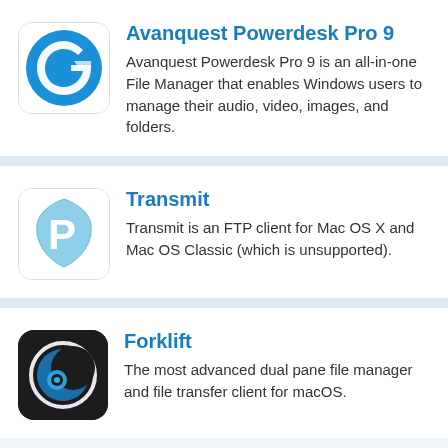[Figure (logo): Avanquest Powerdesk Pro 9 app icon — blue circular design with stylized G]
Avanquest Powerdesk Pro 9
Avanquest Powerdesk Pro 9 is an all-in-one File Manager that enables Windows users to manage their audio, video, images, and folders.
[Figure (logo): Transmit app icon — light blue badge with P letter]
Transmit
Transmit is an FTP client for Mac OS X and Mac OS Classic (which is unsupported).
[Figure (logo): Forklift app icon — dark rounded square with blue crescent moon/eye design]
Forklift
The most advanced dual pane file manager and file transfer client for macOS.